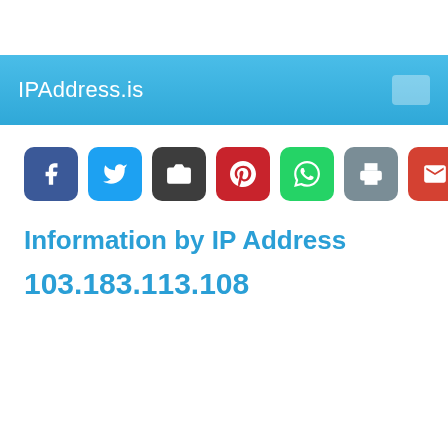IPAddress.is
[Figure (screenshot): Row of social sharing buttons: Facebook (blue), Twitter (light blue), Share/camera (dark gray), Pinterest (red), WhatsApp (green), Print (gray), Gmail (red), More/plus (orange)]
Information by IP Address
103.183.113.108